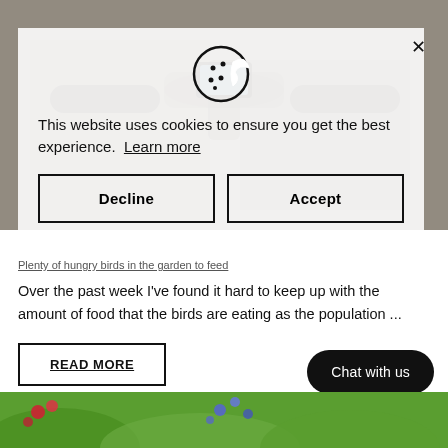[Figure (photo): Background photo of a bicycle handlebar with chains and outdoor garden/courtyard setting, greyscale toned]
This website uses cookies to ensure you get the best experience. Learn more
Decline
Accept
Plenty of hungry birds in the garden to feed
Over the past week I've found it hard to keep up with the amount of food that the birds are eating as the population ...
READ MORE
Chat with us
[Figure (photo): Garden photo with colourful flowers including red and blue/purple flowers against green foliage]